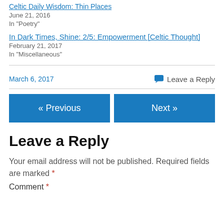Celtic Daily Wisdom: Thin Places
June 21, 2016
In "Poetry"
In Dark Times, Shine: 2/5: Empowerment [Celtic Thought]
February 21, 2017
In "Miscellaneous"
March 6, 2017
Leave a Reply
« Previous
Next »
Leave a Reply
Your email address will not be published. Required fields are marked *
Comment *